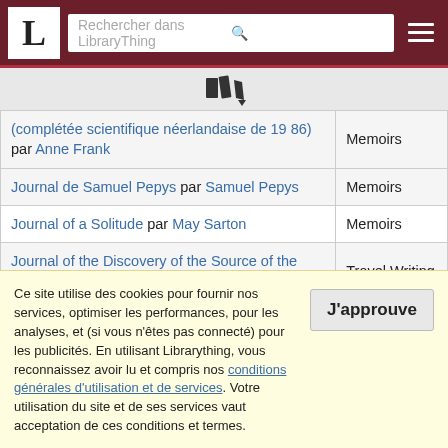LibraryThing - Rechercher dans LibraryThing
| Titre / Auteur | Genre |
| --- | --- |
| (complétée scientifique néerlandaise de 19 86) par Anne Frank | Memoirs |
| Journal de Samuel Pepys par Samuel Pepys | Memoirs |
| Journal of a Solitude par May Sarton | Memoirs |
| Journal of the Discovery of the Source of the Nile par John Hanning Speke | Travel Writing |
| Journal: Une anthologie (1889-1949) par André Gide | Memoirs |
Ce site utilise des cookies pour fournir nos services, optimiser les performances, pour les analyses, et (si vous n'êtes pas connecté) pour les publicités. En utilisant Librarything, vous reconnaissez avoir lu et compris nos conditions générales d'utilisation et de services. Votre utilisation du site et de ses services vaut acceptation de ces conditions et termes.